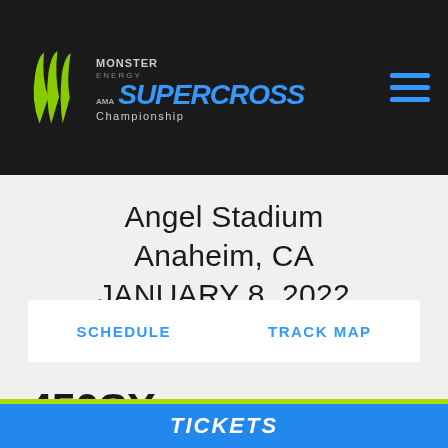Monster Energy AMA Supercross Championship
Angel Stadium
Anaheim, CA
JANUARY 8, 2022
SCHEDULE    TRACK MAP
450SX
TICKETS